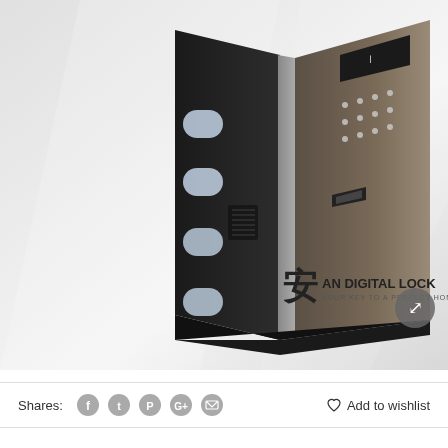[Figure (photo): Product photo of a sleek black digital safe/lock box shown at an angle, displaying the keypad panel on the front face with buttons and a display. The safe has a dark metallic finish. An 'An Digital Lock' watermark logo with a Chinese character 安 and the tagline 'YOUR KEY TO A PERFECT HOME' is visible in the lower right corner of the image, along with a circular expand icon.]
Shares: [social icons: Facebook, Twitter, Pinterest, Google+, Email]    ♡ Add to wishlist